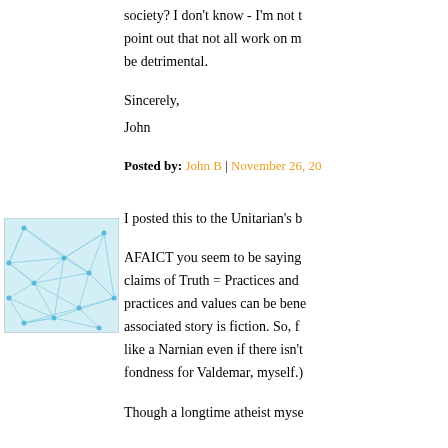society? I don't know - I'm not t
point out that not all work on m
be detrimental.
Sincerely,
John
Posted by: John B | November 26, 20
[Figure (illustration): A square avatar image showing a light blue geometric web/network pattern on white background]
I posted this to the Unitarian's b
AFAICT you seem to be saying
claims of Truth = Practices and
practices and values can be bene
associated story is fiction. So, f
like a Narnian even if there isn't
fondness for Valdemar, myself.)
Though a longtime atheist myse